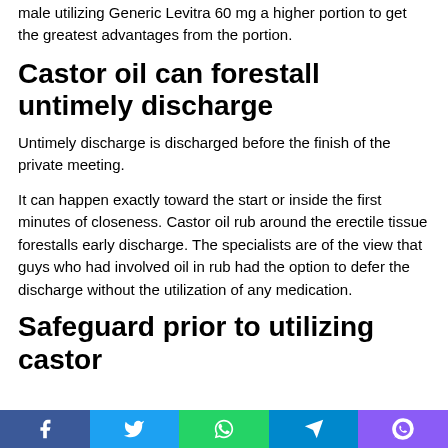male utilizing Generic Levitra 60 mg a higher portion to get the greatest advantages from the portion.
Castor oil can forestall untimely discharge
Untimely discharge is discharged before the finish of the private meeting.
It can happen exactly toward the start or inside the first minutes of closeness. Castor oil rub around the erectile tissue forestalls early discharge. The specialists are of the view that guys who had involved oil in rub had the option to defer the discharge without the utilization of any medication.
Safeguard prior to utilizing castor
Facebook Twitter WhatsApp Telegram Viber